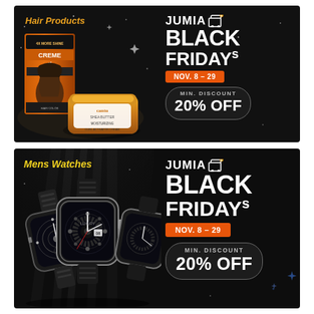[Figure (infographic): Jumia Black Fridays promotional banner for Hair Products. Dark background with product images (Creme of Nature hair color box and Cantu cream jar), orange category label 'Hair Products', Jumia logo with cart icon, 'BLACK FRIDAYs' text, 'NOV. 8 - 29' date badge in orange, and '20% OFF' minimum discount badge.]
[Figure (infographic): Jumia Black Fridays promotional banner for Mens Watches. Dark background with luxury watch product images, yellow category label 'Mens Watches', Jumia logo with cart icon, 'BLACK FRIDAYs' text, 'NOV. 8 - 29' date badge in orange, and '20% OFF' minimum discount badge.]